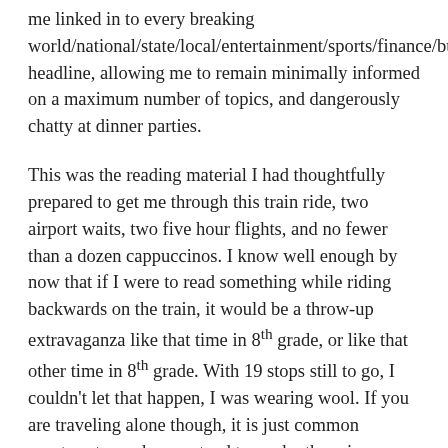me linked in to every breaking world/national/state/local/entertainment/sports/finance/business/health/lifestyle/science/technology/opinion/home/travel/dining headline, allowing me to remain minimally informed on a maximum number of topics, and dangerously chatty at dinner parties.
This was the reading material I had thoughtfully prepared to get me through this train ride, two airport waits, two five hour flights, and no fewer than a dozen cappuccinos. I know well enough by now that if I were to read something while riding backwards on the train, it would be a throw-up extravaganza like that time in 8th grade, or like that other time in 8th grade. With 19 stops still to go, I couldn't let that happen, I was wearing wool. If you are traveling alone though, it is just common courtesy to read, or pretend to read, otherwise you are the creeper who keeps engaging others in “accidental” eye contact. Alas, short of closing my eyes, falling asleep and waking up in the wrong county and